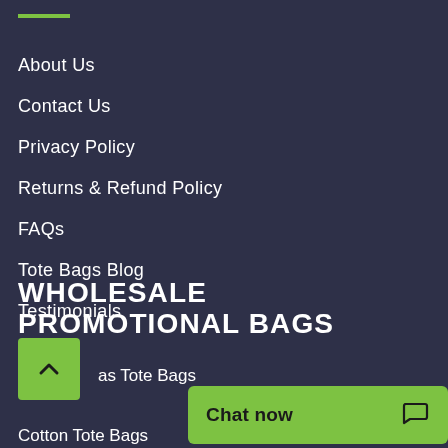About Us
Contact Us
Privacy Policy
Returns & Refund Policy
FAQs
Tote Bags Blog
Testimonials
WHOLESALE PROMOTIONAL BAGS
as Tote Bags
Cotton Tote Bags
Chat now